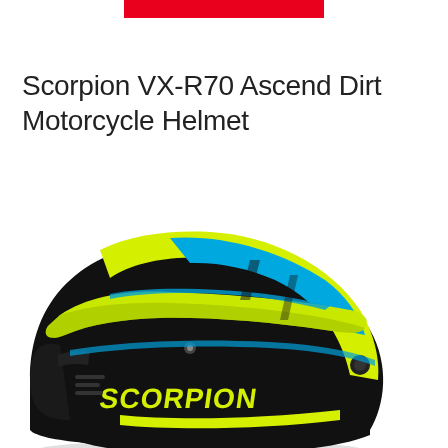[Figure (other): Red rectangular banner/bar at the top of the page, partial view]
Scorpion VX-R70 Ascend Dirt Motorcycle Helmet
[Figure (photo): Side profile photo of a Scorpion VX-R70 Ascend dirt motorcycle helmet in black, neon yellow/green, and blue colorway. The helmet features a large visor, open face design with chin guard, and SCORPION branding on the side.]